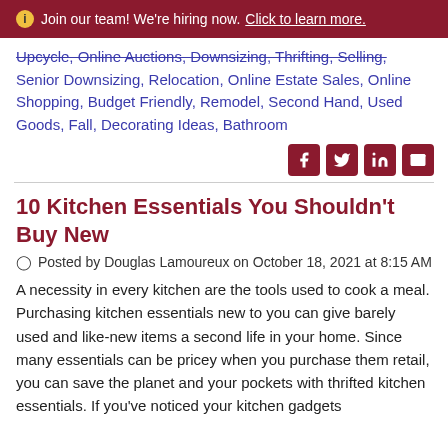ⓘ Join our team! We're hiring now. Click to learn more.
Upcycle, Online Auctions, Downsizing, Thrifting, Selling, Senior Downsizing, Relocation, Online Estate Sales, Online Shopping, Budget Friendly, Remodel, Second Hand, Used Goods, Fall, Decorating Ideas, Bathroom
10 Kitchen Essentials You Shouldn't Buy New
Posted by Douglas Lamoureux on October 18, 2021 at 8:15 AM
A necessity in every kitchen are the tools used to cook a meal. Purchasing kitchen essentials new to you can give barely used and like-new items a second life in your home. Since many essentials can be pricey when you purchase them retail, you can save the planet and your pockets with thrifted kitchen essentials. If you've noticed your kitchen gadgets